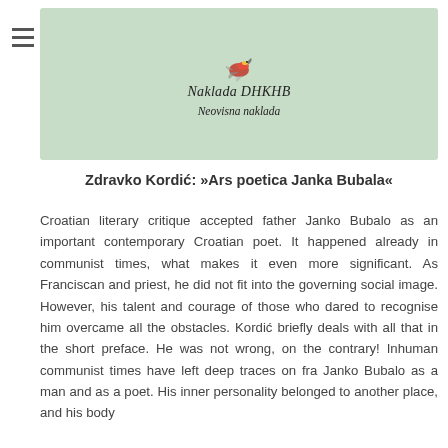[Figure (illustration): Book cover with light green background showing 'Naklada DHKHB' and 'Neovisna naklada' in italic script, with a small bird illustration at the top]
Zdravko Kordić: »Ars poetica Janka Bubala«
Croatian literary critique accepted father Janko Bubalo as an important contemporary Croatian poet. It happened already in communist times, what makes it even more significant. As Franciscan and priest, he did not fit into the governing social image. However, his talent and courage of those who dared to recognise him overcame all the obstacles. Kordić briefly deals with all that in the short preface. He was not wrong, on the contrary! Inhuman communist times have left deep traces on fra Janko Bubalo as a man and as a poet. His inner personality belonged to another place, and his body